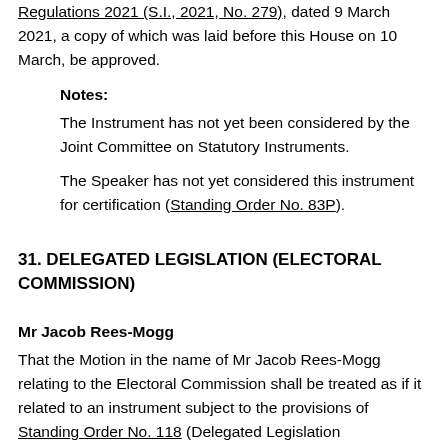Regulations 2021 (S.I., 2021, No. 279), dated 9 March 2021, a copy of which was laid before this House on 10 March, be approved.
Notes:
The Instrument has not yet been considered by the Joint Committee on Statutory Instruments.

The Speaker has not yet considered this instrument for certification (Standing Order No. 83P).
31. DELEGATED LEGISLATION (ELECTORAL COMMISSION)
Mr Jacob Rees-Mogg
That the Motion in the name of Mr Jacob Rees-Mogg relating to the Electoral Commission shall be treated as if it related to an instrument subject to the provisions of Standing Order No. 118 (Delegated Legislation Committees) in respect of which notice